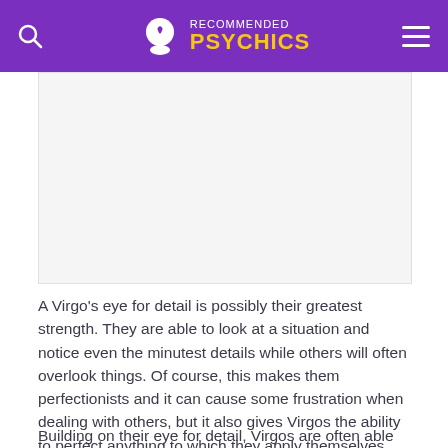RECOMMENDED PSYCHICS
[Figure (photo): Large image placeholder area below the header, appears to be a content image for an article about Virgo zodiac sign]
A Virgo's eye for detail is possibly their greatest strength. They are able to look at a situation and notice even the minutest details while others will often overlook things. Of course, this makes them perfectionists and it can cause some frustration when dealing with others, but it also gives Virgos the ability to perfect anything to which they apply themselves.
Building on their eye for detail, Virgos are often able to bring an